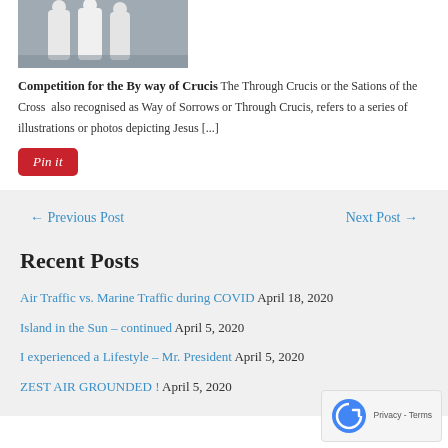[Figure (photo): Photo showing white-robed figures standing outdoors]
Competition for the By way of Crucis The Through Crucis or the Sations of the Cross also recognised as Way of Sorrows or Through Crucis, refers to a series of illustrations or photos depicting Jesus [...]
[Figure (other): Pin it button (red Pinterest-style button)]
← Previous Post
Next Post →
Recent Posts
Air Traffic vs. Marine Traffic during COVID April 18, 2020
Island in the Sun – continued April 5, 2020
I experienced a Lifestyle – Mr. President April 5, 2020
ZEST AIR GROUNDED ! April 5, 2020